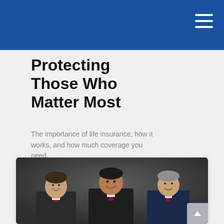Protecting Those Who Matter Most
The importance of life insurance, how it works, and how much coverage you need.
[Figure (photo): Professional portrait of three men in business suits with red ties, smiling, against a dark gray background.]